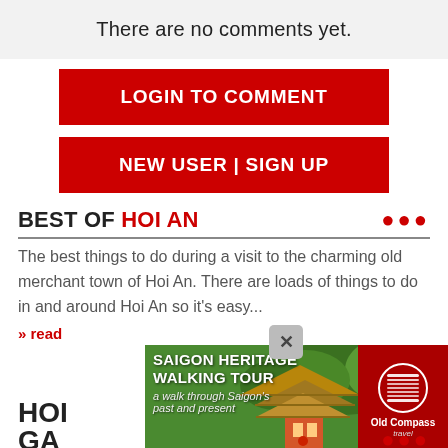There are no comments yet.
LOGIN TO COMMENT
NEW USER | SIGN UP
BEST OF HOI AN
The best things to do during a visit to the charming old merchant town of Hoi An. There are loads of things to do in and around Hoi An so it's easy...
» read
[Figure (screenshot): Advertisement banner for Saigon Heritage Walking Tour by Old Compass Travel, showing a pagoda image with green trees background and red logo box]
HOI
GA